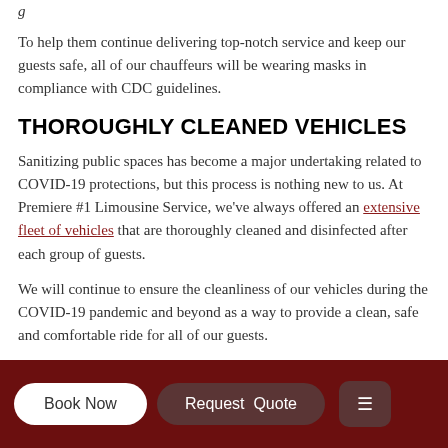g...
To help them continue delivering top-notch service and keep our guests safe, all of our chauffeurs will be wearing masks in compliance with CDC guidelines.
THOROUGHLY CLEANED VEHICLES
Sanitizing public spaces has become a major undertaking related to COVID-19 protections, but this process is nothing new to us. At Premiere #1 Limousine Service, we've always offered an extensive fleet of vehicles that are thoroughly cleaned and disinfected after each group of guests.
We will continue to ensure the cleanliness of our vehicles during the COVID-19 pandemic and beyond as a way to provide a clean, safe and comfortable ride for all of our guests.
Book Now  Request Quote  ☰